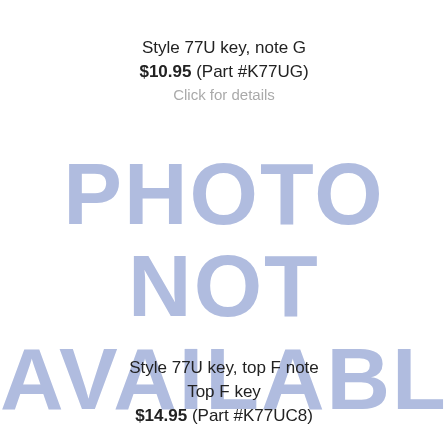Style 77U key, note G
$10.95 (Part #K77UG)
Click for details
[Figure (other): Photo not available placeholder image with large light blue text reading 'PHOTO NOT AVAILABLE']
Style 77U key, top F note
Top F key
$14.95 (Part #K77UC8)